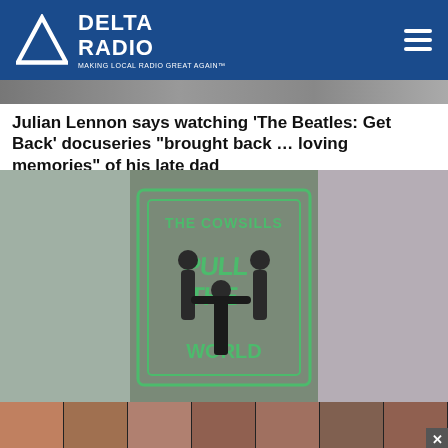DELTA RADIO — MAKING LOCAL RADIO GREAT AGAIN
[Figure (photo): Partially visible article image at top of page, dark background]
Julian Lennon says watching ‘The Beatles: Get Back’ docuseries “brought back … loving memories” of his late dad
[Figure (photo): The Cowsills standing on a large floor graphic reading THE COWSILLS along with album title text in green lettering]
The Cowsills to release first new album in nearly 30 years
[Figure (photo): Bottom strip showing multiple female figures in a row, partially visible, with a close (x) button at bottom right]